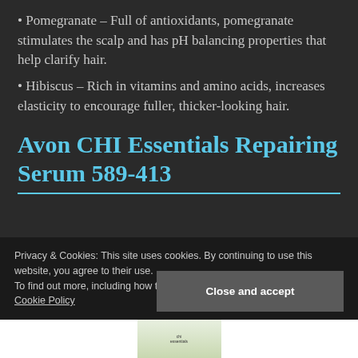• Pomegranate – Full of antioxidants, pomegranate stimulates the scalp and has pH balancing properties that help clarify hair.
• Hibiscus – Rich in vitamins and amino acids, increases elasticity to encourage fuller, thicker-looking hair.
Avon CHI Essentials Repairing Serum 589-413
Privacy & Cookies: This site uses cookies. By continuing to use this website, you agree to their use.
To find out more, including how to control cookies, see here: Cookie Policy
Close and accept
[Figure (photo): Product image of Avon CHI Essentials Repairing Serum bottle at the bottom of the page]